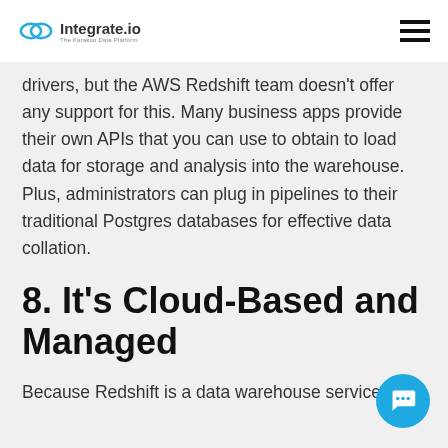Integrate.io — The Karakoo Data Platform
drivers, but the AWS Redshift team doesn't offer any support for this. Many business apps provide their own APIs that you can use to obtain to load data for storage and analysis into the warehouse. Plus, administrators can plug in pipelines to their traditional Postgres databases for effective data collation.
8. It's Cloud-Based and Managed
Because Redshift is a data warehouse service that...